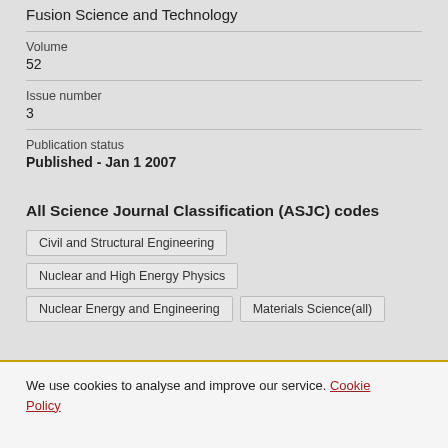Fusion Science and Technology
Volume
52
Issue number
3
Publication status
Published - Jan 1 2007
All Science Journal Classification (ASJC) codes
Civil and Structural Engineering
Nuclear and High Energy Physics
Nuclear Energy and Engineering
Materials Science(all)
We use cookies to analyse and improve our service. Cookie Policy